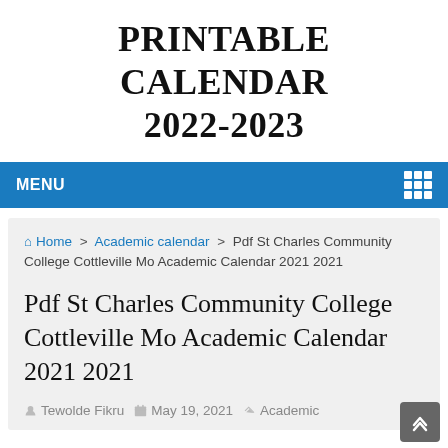PRINTABLE CALENDAR 2022-2023
MENU
Home > Academic calendar > Pdf St Charles Community College Cottleville Mo Academic Calendar 2021 2021
Pdf St Charles Community College Cottleville Mo Academic Calendar 2021 2021
Tewolde Fikru   May 19, 2021   Academic